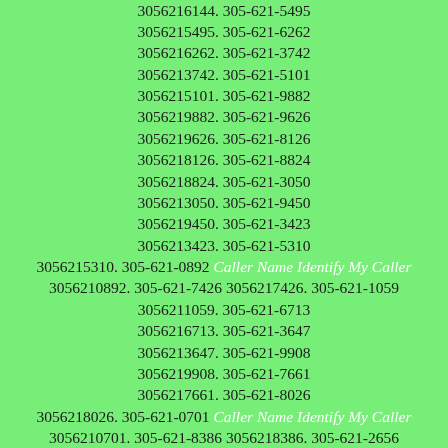3056217144. 305-621-6144 3056216144. 305-621-5495 3056215495. 305-621-6262 3056216262. 305-621-3742 3056213742. 305-621-5101 3056215101. 305-621-9882 3056219882. 305-621-9626 3056219626. 305-621-8126 3056218126. 305-621-8824 3056218824. 305-621-3050 3056213050. 305-621-9450 3056219450. 305-621-3423 3056213423. 305-621-5310 3056215310. 305-621-0892 Caller Name Identify My Caller 3056210892. 305-621-7426 3056217426. 305-621-1059 3056211059. 305-621-6713 3056216713. 305-621-3647 3056213647. 305-621-9908 3056219908. 305-621-7661 3056217661. 305-621-8026 3056218026. 305-621-0701 Caller Name Identify My Caller 3056210701. 305-621-8386 3056218386. 305-621-2656 3056212656. 305-621-3341